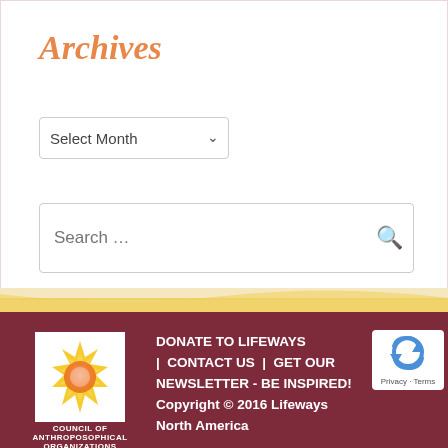Archives
Select Month
Search ...
[Figure (logo): Council of Anthroposophical Organizations sunburst logo in gold/orange on white background]
DONATE TO LIFEWAYS | CONTACT US | GET OUR NEWSLETTER - BE INSPIRED! Copyright © 2016 Lifeways North America
[Figure (other): reCAPTCHA widget with Privacy and Terms text]